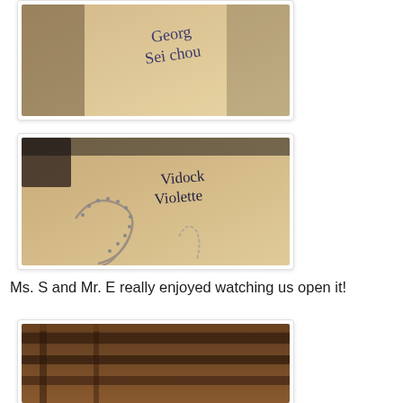[Figure (photo): Photo of a light-colored surface with handwritten text reading 'Georg Sei chou']
[Figure (photo): Photo of a light-colored box/surface with handwritten text reading 'Vidock Violette' and a decorative chain/necklace item in the foreground]
Ms. S and Mr. E really enjoyed watching us open it!
[Figure (photo): Partial photo showing wooden beams or shelving, cropped at bottom of page]